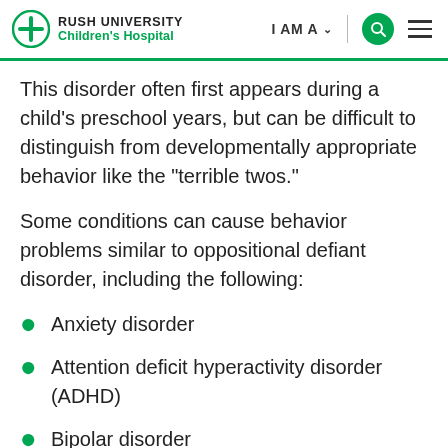RUSH UNIVERSITY Children's Hospital | I AM A | [search] [menu]
This disorder often first appears during a child's preschool years, but can be difficult to distinguish from developmentally appropriate behavior like the “terrible twos.”
Some conditions can cause behavior problems similar to oppositional defiant disorder, including the following:
Anxiety disorder
Attention deficit hyperactivity disorder (ADHD)
Bipolar disorder
(partially visible)